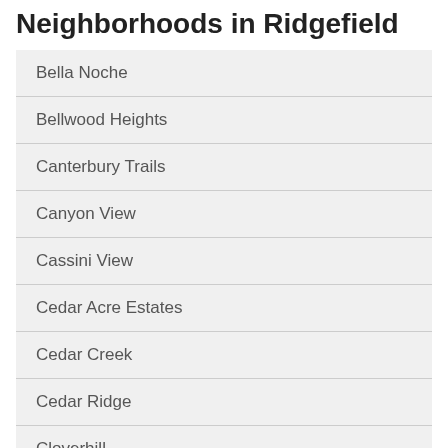Neighborhoods in Ridgefield
Bella Noche
Bellwood Heights
Canterbury Trails
Canyon View
Cassini View
Cedar Acre Estates
Cedar Creek
Cedar Ridge
Cloverhill
Columbia Hills
Delfel Acres